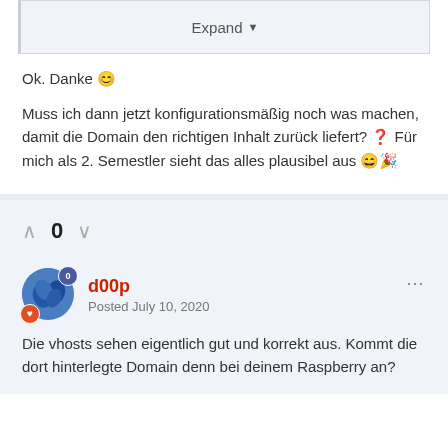Expand
Ok. Danke 😊
Muss ich dann jetzt konfigurationsmäßig noch was machen, damit die Domain den richtigen Inhalt zurück liefert? 🤔 Für mich als 2. Semestler sieht das alles plausibel aus 😄🎉
0
d00p
Posted July 10, 2020
Die vhosts sehen eigentlich gut und korrekt aus. Kommt die dort hinterlegte Domain denn bei deinem Raspberry an?